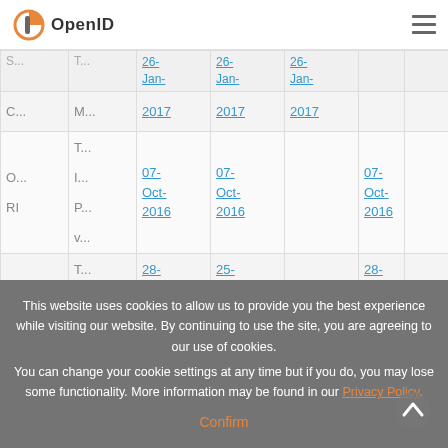OpenID
|  |  | 26-Jan-2017 | 26-Jan-2017 | 26-Jan-2017 |  |  |
| --- | --- | --- | --- | --- | --- | --- |
| C... | M... | 26-Jan-2017 | 26-Jan-2017 | 26-Jan-2017 |  |  |
| O... RI | T... I... P... v... | 07-Oct-2016 | 07-Oct-2016 |  | 07-Oct-2016 |  |
| S... | T... | 28- | 25- |  | 28- |  |
This website uses cookies to allow us to provide you the best experience while visiting our website. By continuing to use the site, you are agreeing to our use of cookies.
You can change your cookie settings at any time but if you do, you may lose some functionality. More information may be found in our Privacy Policy.
Confirm